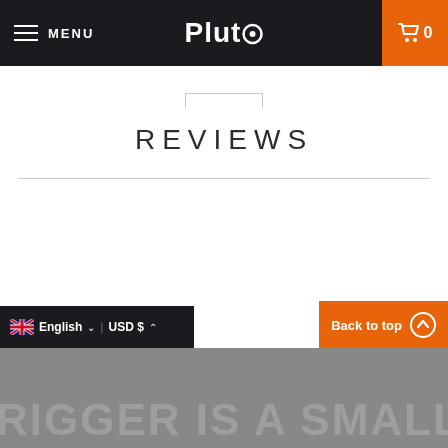MENU | Pluto | 0
REVIEWS
[Figure (screenshot): Back to top button with orange background and upward arrow icon]
English USD $ | RIGGER IS A SMALL